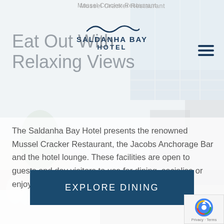Mussel Cracker Restaurant
[Figure (photo): Background photo of a hotel restaurant terrace with white furniture, champagne glasses, a plant, and a view of the bay/sea in the background. Semi-transparent white overlay applied.]
Eat Out With Relaxing Views
The Saldanha Bay Hotel presents the renowned Mussel Cracker Restaurant, the Jacobs Anchorage Bar and the hotel lounge. These facilities are open to guests and day visitors to use for dining, socialise or enjoying the West Coast sunset.
EXPLORE DINING
Privacy · Terms